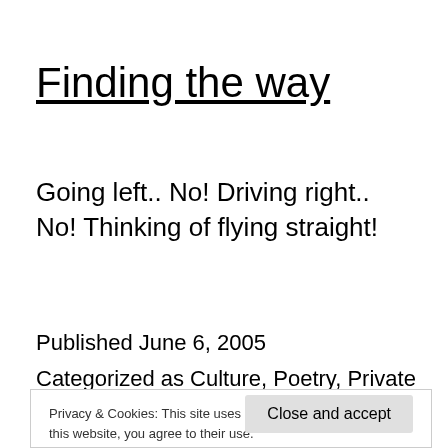Finding the way
Going left.. No! Driving right.. No! Thinking of flying straight!
Published June 6, 2005
Categorized as Culture, Poetry, Private
Privacy & Cookies: This site uses cookies. By continuing to use this website, you agree to their use. To find out more, including how to control cookies, see here: Cookie Policy
Close and accept